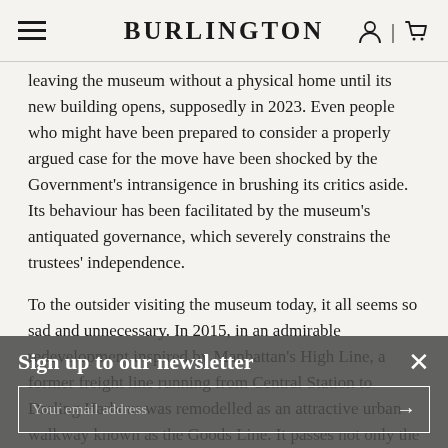BURLINGTON
leaving the museum without a physical home until its new building opens, supposedly in 2023. Even people who might have been prepared to consider a properly argued case for the move have been shocked by the Government's intransigence in brushing its critics aside. Its behaviour has been facilitated by the museum's antiquated governance, which severely constrains the trustees' independence.
To the outsider visiting the museum today, it all seems so sad and unnecessary. In 2015, in an admirable redevelopment inspired by Manhattan's High Line, a former freight line running from Central Station to Darling Harbour was remodelled as an attractive urban walkway known as the Goods Line. It passes not only the Powerhouse but also buildings for the Australian Broadcasting Corporation, the Ultimo campus of TAFE New South Wales (a centre for vocational education) and Frank Gehry's business school for the University of
Sign up to our newsletter
Your email address